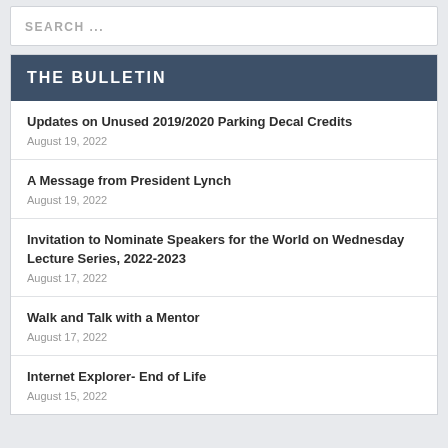SEARCH ...
THE BULLETIN
Updates on Unused 2019/2020 Parking Decal Credits
August 19, 2022
A Message from President Lynch
August 19, 2022
Invitation to Nominate Speakers for the World on Wednesday Lecture Series, 2022-2023
August 17, 2022
Walk and Talk with a Mentor
August 17, 2022
Internet Explorer- End of Life
August 15, 2022